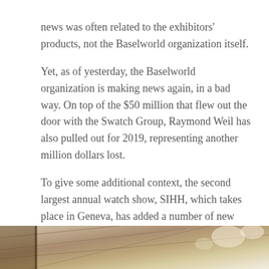news was often related to the exhibitors' products, not the Baselworld organization itself.
Yet, as of yesterday, the Baselworld organization is making news again, in a bad way. On top of the $50 million that flew out the door with the Swatch Group, Raymond Weil has also pulled out for 2019, representing another million dollars lost.
To give some additional context, the second largest annual watch show, SIHH, which takes place in Geneva, has added a number of new exhibitors in recent years and made great strides in modernizing the way they operate the show, but despite that SIHH's longterm existence may be in jeopardy as well.
[Figure (photo): Bottom portion of an indoor photo, showing what appears to be a ceiling or architectural interior with metallic surfaces and lighting.]